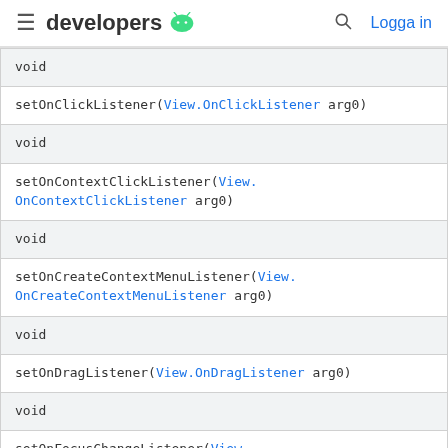developers [android logo]  [search]  Logga in
| void |
| setOnClickListener(View.OnClickListener arg0) |
| void |
| setOnContextClickListener(View.OnContextClickListener arg0) |
| void |
| setOnCreateContextMenuListener(View.OnCreateContextMenuListener arg0) |
| void |
| setOnDragListener(View.OnDragListener arg0) |
| void |
| setOnFocusChangeListener(View.OnFocusChangeListener arg0) |
| void |